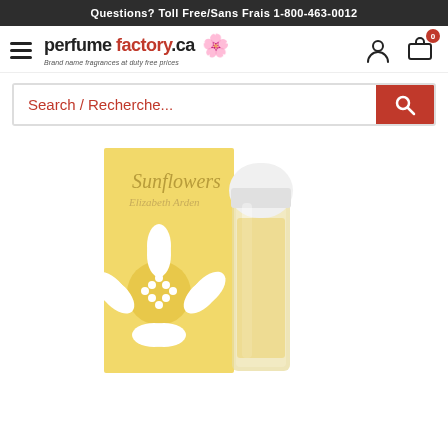Questions? Toll Free/Sans Frais 1-800-463-0012
[Figure (logo): Perfume Factory .ca logo with tagline 'Brand name fragrances at duty free prices' and a flower icon]
Search / Recherche...
[Figure (photo): Elizabeth Arden Sunflowers perfume product image showing a yellow box with white sunflower design and a glass perfume bottle with white cap]